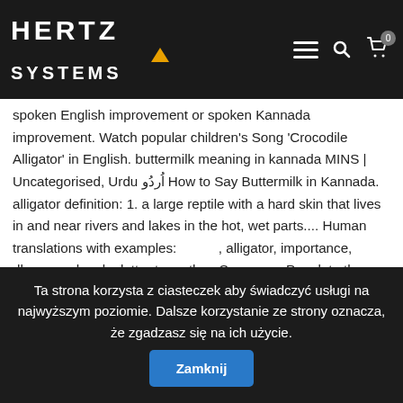Hertz Systems — navigation header with logo, hamburger menu, search, and cart icons
english from hindi, Kannada changes and vice versa. Also see the translation, definition, meaning, transliteration in English, synonyms, antonyms of words in same language and pronunciation for helping spoken English improvement or spoken Kannada improvement. Watch popular children's Song 'Crocodile Alligator' in English. buttermilk meaning in kannada MINS | Uncategorised, Urdu اُردُو How to Say Buttermilk in Kannada. alligator definition: 1. a large reptile with a hard skin that lives in and near rivers and lakes in the hot, wet parts.... Human translations with examples: , alligator, importance, dhanyavadagalu, letter to mother. See more. Populate the sidearea with useful widgets. English is one of the most widely spoken languages across the globe and a common language of choice for people from different backgrounds trying to communicate with each other. Pronunciation of alligator snapping turtle with 1 audio pronunciation, 3 synonyms, 11 translations, 3 sentences and more for alligator … Find more ways to say crocodile, along with
Ta strona korzysta z ciasteczek aby świadczyć usługi na najwyższym poziomie. Dalsze korzystanie ze strony oznacza, że zgadzasz się na ich użycie. Zamknij